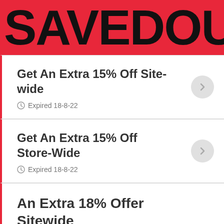SAVEDOUB
Get An Extra 15% Off Site-wide
Expired 18-8-22
Get An Extra 15% Off Store-Wide
Expired 18-8-22
An Extra 18% Offer Sitewide
Expired 12-4-22